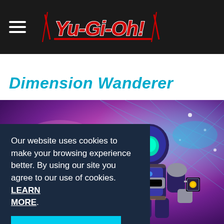Yu-Gi-Oh! (logo) with hamburger menu
Dimension Wanderer
[Figure (screenshot): Yu-Gi-Oh! Dimension Wanderer card artwork showing a small robot/mech character in purple and gold armor against a colorful cosmic background with pink, purple, teal and cyan energy patterns and grid lines]
Our website uses cookies to make your browsing experience better. By using our site you agree to our use of cookies. LEARN MORE.
Accept